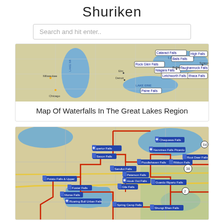Shuriken
Search and hit enter..
[Figure (map): Map of waterfalls in the Great Lakes Region showing Lake Ontario, Lake Erie, Lake Michigan with labeled waterfall locations including Cataract Falls, Balls Falls, High Falls, Rock Glen Falls, Niagara Falls, Taughannock Falls, Letchworth Falls, Ithaca Falls, Paine Falls, Milwaukee, Chicago, Detroit marked]
Map Of Waterfalls In The Great Lakes Region
[Figure (map): Detailed map showing waterfall locations with red route lines overlaid, including Superior Falls, Saxon Falls, Sandlot Falls, Peterson Falls, Potato Falls & Upper, Hook Out Falls, Foster Falls, Gene Falls, Morse Falls, Roaring Bull Urban Falls, Spring Camp Falls, Chequawa Falls, Namrines Falls Picardo, Poodlehaven Falls, Ribbon Falls, Root Deer Falls, Guardo Ripario Falls, Shungt Bhen Falls and others, with trail markers and numbered roads]